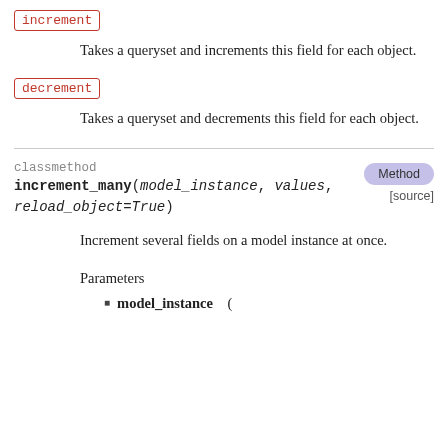increment
Takes a queryset and increments this field for each object.
decrement
Takes a queryset and decrements this field for each object.
classmethod increment_many(model_instance, values, reload_object=True) [source]
Increment several fields on a model instance at once.
Parameters
model_instance (